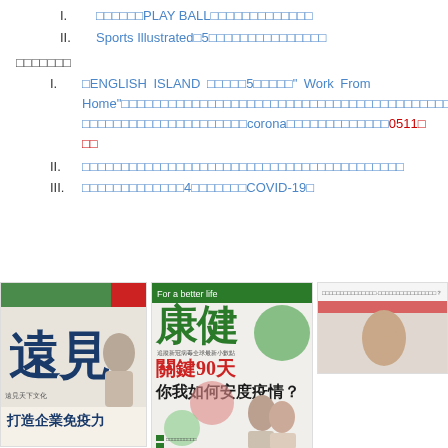I. □□□□□□PLAY BALL□□□□□□□□□□□□□
II. Sports Illustrated□5□□□□□□□□□□□□□□□
□□□□□□□
I. □ENGLISH ISLAND□□□□□5□□□□□" Work From Home"□□□□□□□□□□□□□□□□□□□□□□□□□□□□□□□□□□□□□□□□□□□□□□□□□□□□□□corona□□□□□□□□□□□□□05110□□
II. □□□□□□□□□□□□□□□□□□□□□□□□□□□□□□□□□□□□□□□□□
III. □□□□□□□□□□□□□4□□□□□□□COVID-19□
[Figure (photo): Three magazine covers shown at the bottom: 遠見 magazine (打造企業免疫力), 康健 magazine (關鍵90天 你我如何安度疫情?), and a third partially visible magazine]
遠見 打造企業免疫力 / 康健 關鍵90天 你我如何安度疫情?